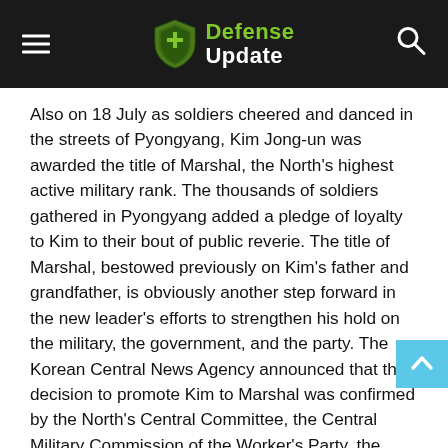Defense Update
Also on 18 July as soldiers cheered and danced in the streets of Pyongyang, Kim Jong-un was awarded the title of Marshal, the North's highest active military rank. The thousands of soldiers gathered in Pyongyang added a pledge of loyalty to Kim to their bout of public reverie. The title of Marshal, bestowed previously on Kim's father and grandfather, is obviously another step forward in the new leader's efforts to strengthen his hold on the military, the government, and the party. The Korean Central News Agency announced that the decision to promote Kim to Marshal was confirmed by the North's Central Committee, the Central Military Commission of the Worker's Party, the National Defense Commission, and the Presidium of the Supreme People's Assembly.

The rank of “Generalissimo” is the only rank senior to that of